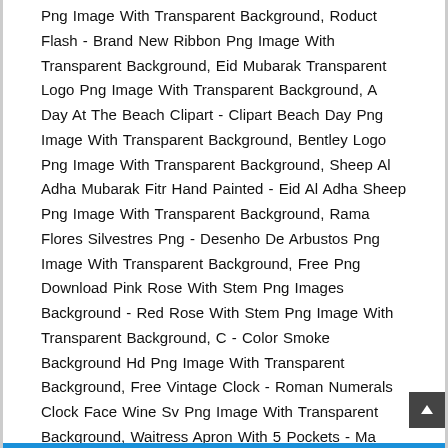Png Image With Transparent Background, Roduct Flash - Brand New Ribbon Png Image With Transparent Background, Eid Mubarak Transparent Logo Png Image With Transparent Background, A Day At The Beach Clipart - Clipart Beach Day Png Image With Transparent Background, Bentley Logo Png Image With Transparent Background, Sheep Al Adha Mubarak Fitr Hand Painted - Eid Al Adha Sheep Png Image With Transparent Background, Rama Flores Silvestres Png - Desenho De Arbustos Png Image With Transparent Background, Free Png Download Pink Rose With Stem Png Images Background - Red Rose With Stem Png Image With Transparent Background, C - Color Smoke Background Hd Png Image With Transparent Background, Free Vintage Clock - Roman Numerals Clock Face Wine Sv Png Image With Transparent Background, Waitress Apron With 5 Pockets - Ma Png Image With Transparent